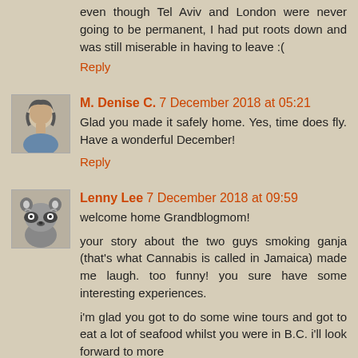even though Tel Aviv and London were never going to be permanent, I had put roots down and was still miserable in having to leave :(
Reply
M. Denise C. 7 December 2018 at 05:21
Glad you made it safely home. Yes, time does fly. Have a wonderful December!
Reply
Lenny Lee 7 December 2018 at 09:59
welcome home Grandblogmom!
your story about the two guys smoking ganja (that's what Cannabis is called in Jamaica) made me laugh. too funny! you sure have some interesting experiences.
i'm glad you got to do some wine tours and got to eat a lot of seafood whilst you were in B.C. i'll look forward to more